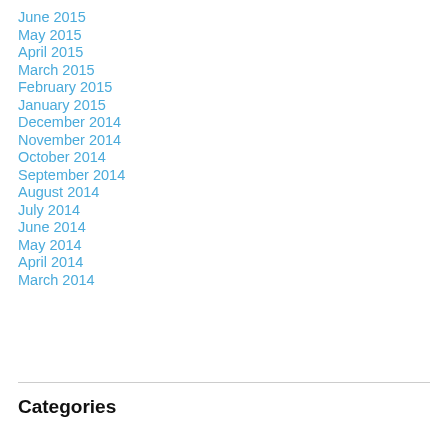June 2015
May 2015
April 2015
March 2015
February 2015
January 2015
December 2014
November 2014
October 2014
September 2014
August 2014
July 2014
June 2014
May 2014
April 2014
March 2014
Categories